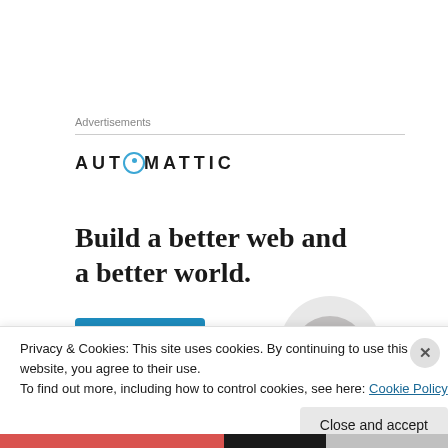Advertisements
[Figure (logo): AUTOMATTIC logo with a blue circle replacing the letter O]
Build a better web and a better world.
[Figure (photo): Partial view of a person smiling, shown in a circular crop, with a partial blue button below the ad text]
Privacy & Cookies: This site uses cookies. By continuing to use this website, you agree to their use.
To find out more, including how to control cookies, see here: Cookie Policy